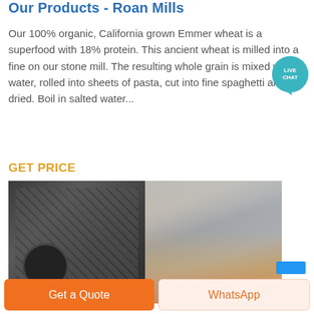Our Products - Roan Mills
Our 100% organic, California grown Emmer wheat is a superfood with 18% protein. This ancient wheat is milled into a fine on our stone mill. The resulting whole grain is mixed with water, rolled into sheets of pasta, cut into fine spaghetti and dried. Boil in salted water...
GET PRICE
[Figure (photo): Industrial milling equipment showing two views: left side shows metal machinery components including perforated plates and a circular millstone, right side shows warehouse/factory interior with orange crane or lifting equipment]
Get a Quote
WhatsApp